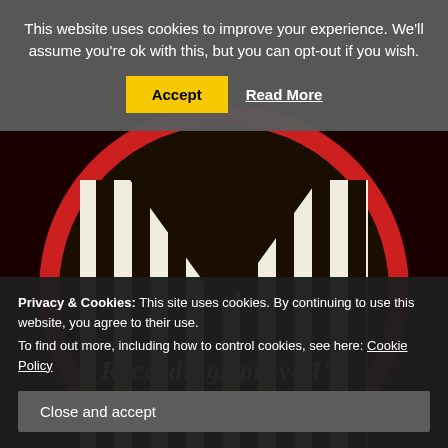[Figure (logo): Circular logo with dark background featuring a stylized 'M' made of vertical black and white stripes, surrounded by a red circular border, on a dark brownish-black background]
This website uses cookies to improve your experience. We'll assume you're ok with this, but you can opt-out if you wish.
Accept | Read More
Privacy & Cookies: This site uses cookies. By continuing to use this website, you agree to their use.
To find out more, including how to control cookies, see here: Cookie Policy
Close and accept
Recordings prove I'll